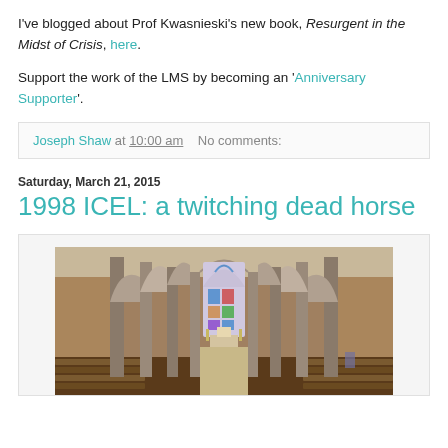I've blogged about Prof Kwasnieski's new book, Resurgent in the Midst of Crisis, here.
Support the work of the LMS by becoming an 'Anniversary Supporter'.
Joseph Shaw at 10:00 am   No comments:
Saturday, March 21, 2015
1998 ICEL: a twitching dead horse
[Figure (photo): Interior of a Gothic-style church showing stone columns, pointed arches, pews, and a colorful stained glass window at the far end with altar area visible.]